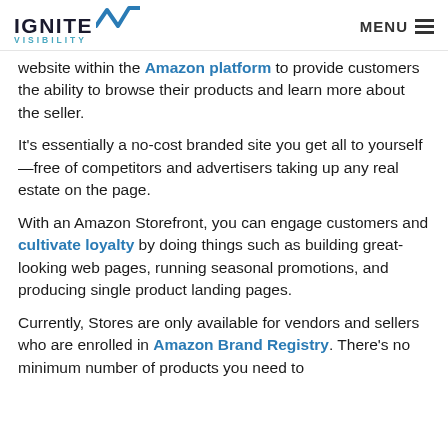IGNITE VISIBILITY | MENU
website within the Amazon platform to provide customers the ability to browse their products and learn more about the seller.
It’s essentially a no-cost branded site you get all to yourself—free of competitors and advertisers taking up any real estate on the page.
With an Amazon Storefront, you can engage customers and cultivate loyalty by doing things such as building great-looking web pages, running seasonal promotions, and producing single product landing pages.
Currently, Stores are only available for vendors and sellers who are enrolled in Amazon Brand Registry. There’s no minimum number of products you need to